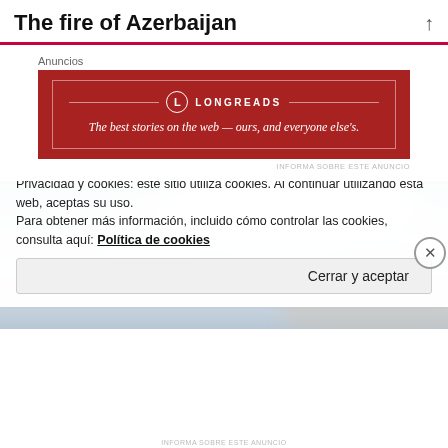The fire of Azerbaijan
Anuncios
[Figure (illustration): Longreads advertisement banner with red background and white serif text: 'The best stories on the web — ours, and everyone else's.']
INFORMA SOBRE ESTE ANUNCIO
[Figure (photo): Sky photograph with blue-grey tones and light clouds.]
Privacidad y cookies: este sitio utiliza cookies. Al continuar utilizando esta web, aceptas su uso.
Para obtener más información, incluido cómo controlar las cookies, consulta aquí: Política de cookies
Cerrar y aceptar
INFORMA SOBRE ESTE ANUNCIO